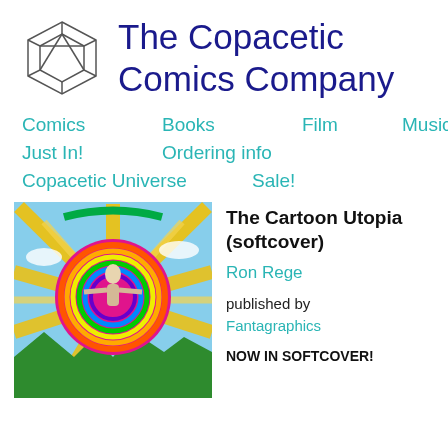The Copacetic Comics Company
Comics
Books
Film
Music
Just In!
Ordering info
Copacetic Universe
Sale!
[Figure (illustration): Colorful psychedelic illustration: a figure in the center surrounded by a large magenta circle with rainbow rings, with golden rays radiating outward against a sky blue background with clouds and green mountains at the bottom.]
The Cartoon Utopia (softcover)
Ron Rege
published by Fantagraphics
NOW IN SOFTCOVER!